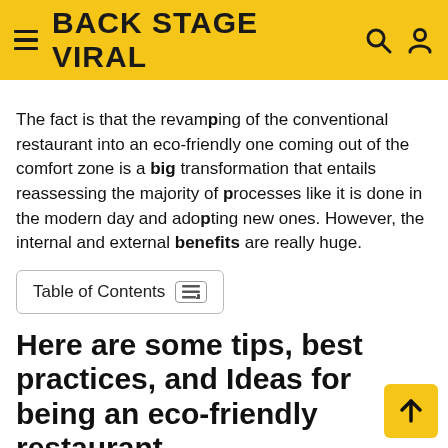BACK STAGE VIRAL
The fact is that the revamping of the conventional restaurant into an eco-friendly one coming out of the comfort zone is a big transformation that entails reassessing the majority of processes like it is done in the modern day and adopting new ones. However, the internal and external benefits are really huge.
Table of Contents
Here are some tips, best practices, and Ideas for being an eco-friendly restaurant
#1. Focus on cooking seasonal food